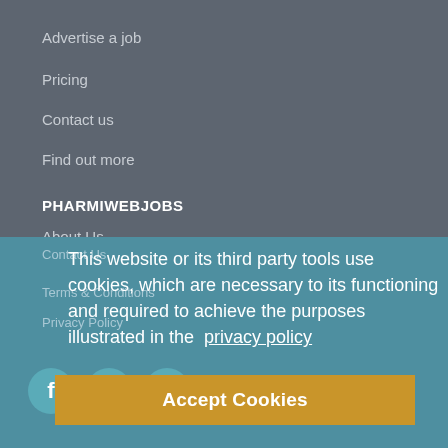Advertise a job
Pricing
Contact us
Find out more
PHARMIWEBJOBS
About Us
Contact Us
Terms &amp; Conditions
Privacy Policy
This website or its third party tools use cookies, which are necessary to its functioning and required to achieve the purposes illustrated in the privacy policy
Accept Cookies
PharmiWeb.com is Europe's leading industry-sponsored portal for the Pharmaceutical sector, providing the latest jobs, news, features and events listings. The information provided on PharmaWeb.com is designed to support, not replace, the relationship that exists between a patient/site visitor and his/her physician.